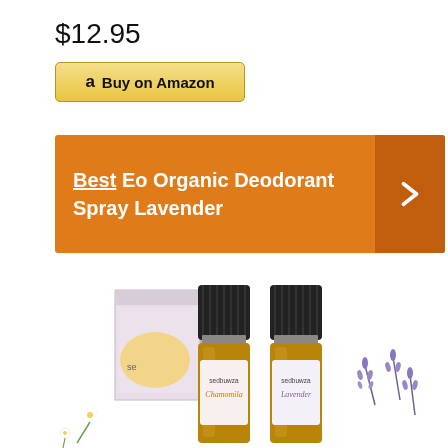$12.95
Buy on Amazon
Best Eo Organic Deodorant Spray Lavender
[Figure (photo): Two amber glass essential oil bottles with black dropper caps labeled 'sedbuwza Chamomile' and 'sedbuwza Lavender', with a product box in the background, chamomile flowers on the left and lavender on the right]